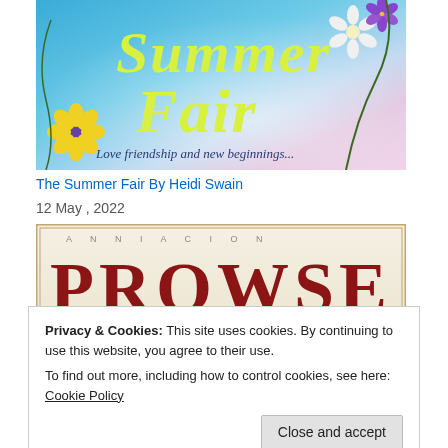[Figure (illustration): Book cover for 'The Summer Fair' by Heidi Swain. Blue and pink gradient background with illustrated flowers. Title text in yellow-green italic script reads 'Summer Fair'. Subtitle in cursive: 'Love friendship and new beginnings...']
The Summer Fair By Heidi Swain
12 May , 2022
[Figure (illustration): Partial book cover showing the word 'PROWSE' in large red serif letters on cream/beige background with decorative border.]
Privacy & Cookies: This site uses cookies. By continuing to use this website, you agree to their use.
To find out more, including how to control cookies, see here: Cookie Policy
[Figure (illustration): Partial book cover at the bottom, showing cursive text in dark color on a warm brown/tan background.]